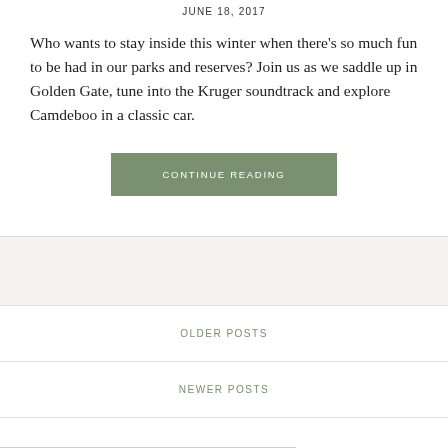JUNE 18, 2017
Who wants to stay inside this winter when there's so much fun to be had in our parks and reserves? Join us as we saddle up in Golden Gate, tune into the Kruger soundtrack and explore Camdeboo in a classic car.
CONTINUE READING
OLDER POSTS
NEWER POSTS